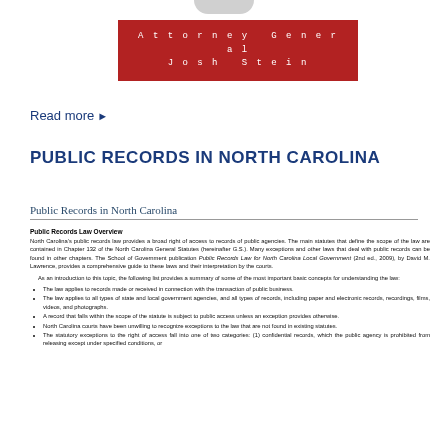[Figure (logo): Circular logo/seal at top center, partially visible]
Attorney General
Josh Stein
Read more ▶
PUBLIC RECORDS IN NORTH CAROLINA
Public Records in North Carolina
Public Records Law Overview
North Carolina's public records law provides a broad right of access to records of public agencies. The main statutes that define the scope of the law are contained in Chapter 132 of the North Carolina General Statutes (hereinafter G.S.). Many exceptions and other laws that deal with public records can be found in other chapters. The School of Government publication Public Records Law for North Carolina Local Government (2nd ed., 2009), by David M. Lawrence, provides a comprehensive guide to these laws and their interpretation by the courts.
As an introduction to this topic, the following list provides a summary of some of the most important basic concepts for understanding the law:
The law applies to records made or received in connection with the transaction of public business.
The law applies to all types of state and local government agencies, and all types of records, including paper and electronic records, recordings, films, videos, and photographs.
A record that falls within the scope of the statute is subject to public access unless an exception provides otherwise.
North Carolina courts have been unwilling to recognize exceptions to the law that are not found in existing statutes.
The statutory exceptions to the right of access fall into one of two categories: (1) confidential records, which the public agency is prohibited from releasing except under specified conditions, or